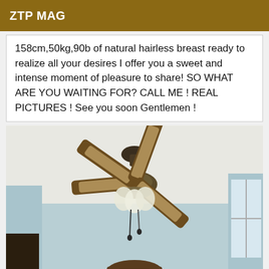ZTP MAG
158cm,50kg,90b of natural hairless breast ready to realize all your desires I offer you a sweet and intense moment of pleasure to share! SO WHAT ARE YOU WAITING FOR? CALL ME ! REAL PICTURES ! See you soon Gentlemen !
[Figure (photo): Photo of a ceiling fan with five wooden blades and a light fixture, viewed from below. A person wearing a cap is partially visible at the bottom of the frame. The room has light blue walls.]